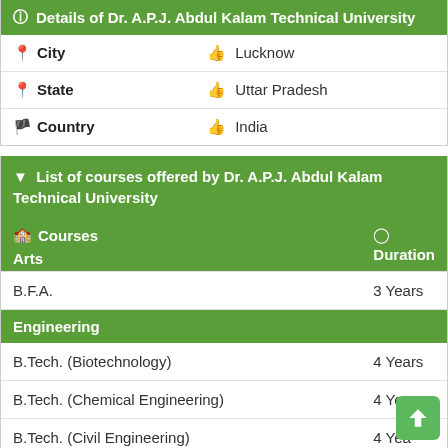Details of Dr. A.P.J. Abdul Kalam Technical University
|  |  |
| --- | --- |
| 🏙 City | 🖐 Lucknow |
| 📍 State | 🖐 Uttar Pradesh |
| 🚩 Country | 🖐 India |
▼ List of courses offered by Dr. A.P.J. Abdul Kalam Technical University
| 🎓 Courses
Arts | ⏱ Duration |
| --- | --- |
| B.F.A. | 3 Years |
| Engineering |  |
| B.Tech. (Biotechnology) | 4 Years |
| B.Tech. (Chemical Engineering) | 4 Years |
| B.Tech. (Civil Engineering) | 4 Years |
| B.Tech. (Computer Science and Engineering) | 4 Years |